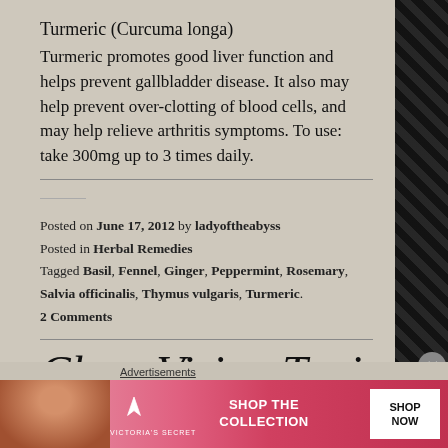Turmeric (Curcuma longa)
Turmeric promotes good liver function and helps prevent gallbladder disease. It also may help prevent over-clotting of blood cells, and may help relieve arthritis symptoms. To use: take 300mg up to 3 times daily.
Posted on June 17, 2012 by ladyoftheabyss
Posted in Herbal Remedies
Tagged Basil, Fennel, Ginger, Peppermint, Rosemary, Salvia officinalis, Thymus vulgaris, Turmeric.
2 Comments
Clear Vision Tonic
Advertisements